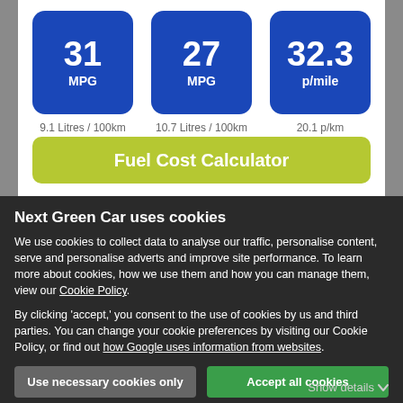[Figure (infographic): Three blue rounded metric boxes showing fuel efficiency: 31 MPG, 27 MPG, 32.3 p/mile, with sub-labels 9.1 Litres / 100km, 10.7 Litres / 100km, 20.1 p/km, and a green Fuel Cost Calculator button]
Next Green Car uses cookies
We use cookies to collect data to analyse our traffic, personalise content, serve and personalise adverts and improve site performance. To learn more about cookies, how we use them and how you can manage them, view our Cookie Policy.
By clicking 'accept,' you consent to the use of cookies by us and third parties. You can change your cookie preferences by visiting our Cookie Policy, or find out how Google uses information from websites.
Use necessary cookies only
Accept all cookies
Show details